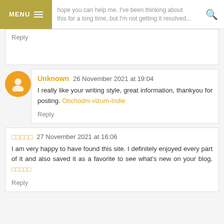MENU | hope you can help me. I've been thinking about this for a long time, but I'm not getting it resolved...
Reply
Unknown 26 November 2021 at 19:04
I really like your writing style, great information, thankyou for posting. Obchodni-vizum-Indie
Reply
□□□□□ 27 November 2021 at 16:06
I am very happy to have found this site. I definitely enjoyed every part of it and also saved it as a favorite to see what's new on your blog. □□□□□
Reply